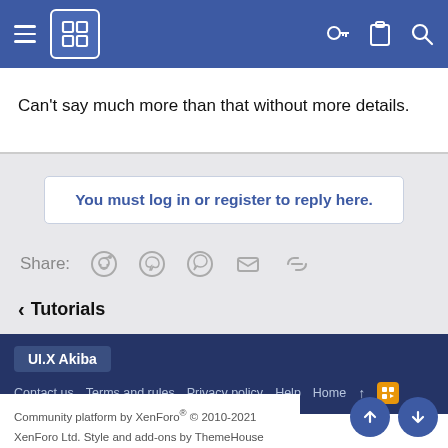UI.X Akiba forum header with menu, logo, key, clipboard, search icons
Can't say much more than that without more details.
You must log in or register to reply here.
Share:
< Tutorials
UI.X Akiba | Contact us | Terms and rules | Privacy policy | Help | Home
Community platform by XenForo® © 2010-2021 XenForo Ltd. Style and add-ons by ThemeHouse